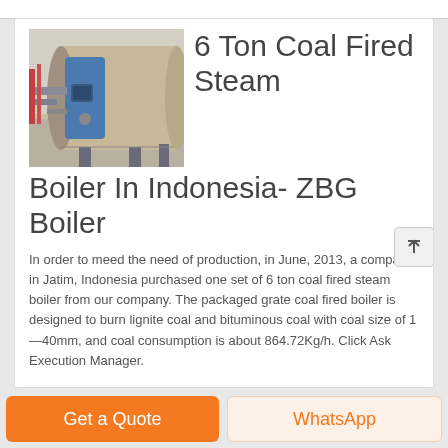[Figure (photo): A large cylindrical coal fired steam boiler, beige/tan colored drum with blue front panel and equipment attachments, installed in an industrial facility.]
6 Ton Coal Fired Steam Boiler In Indonesia- ZBG Boiler
In order to meed the need of production, in June, 2013, a company in Jatim, Indonesia purchased one set of 6 ton coal fired steam boiler from our company. The packaged grate coal fired boiler is designed to burn lignite coal and bituminous coal with coal size of 1—40mm, and coal consumption is about 864.72Kg/h. Click Ask Execution Manager.